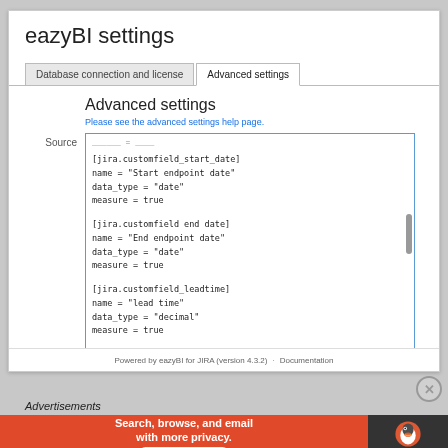eazyBI settings
Database connection and license | Advanced settings
Advanced settings
Please see the advanced settings help page.
Source
[Figure (screenshot): Code editor text area showing eazyBI configuration with custom field definitions for start_date, end date, and leadtime]
Update advanced settings
Powered by eazyBI for JIRA (version 4.3.2)  ·  Documentation
Advertisements
[Figure (photo): DuckDuckGo advertisement banner: Search, browse, and email with more privacy. All in One Free App. DuckDuckGo logo on dark background.]